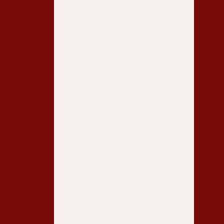Tango 17. Un callejón en Pompeya (Sobre el pucho) - Orquesta Osvaldo Fresedo - 2:30 - 1944 - Tango
18. Adiós pampa mía - Orquesta Osvaldo Fresedo con Oscar Serpa - 3:09 - 1946 - Tango
19.